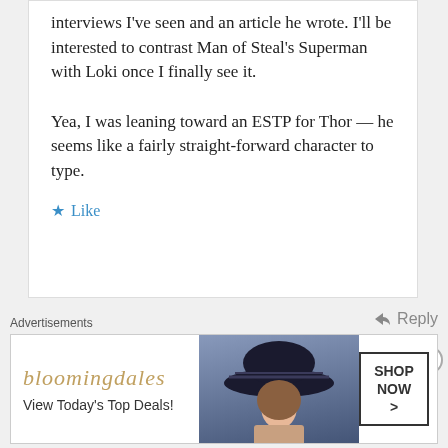interviews I've seen and an article he wrote. I'll be interested to contrast Man of Steal's Superman with Loki once I finally see it.
Yea, I was leaning toward an ESTP for Thor — he seems like a fairly straight-forward character to type.
Like
Reply
Charity says:
17 November, 2013 at 6:25
Advertisements
[Figure (other): Bloomingdales advertisement banner with logo, 'View Today's Top Deals!' tagline, woman in hat, and 'SHOP NOW >' button]